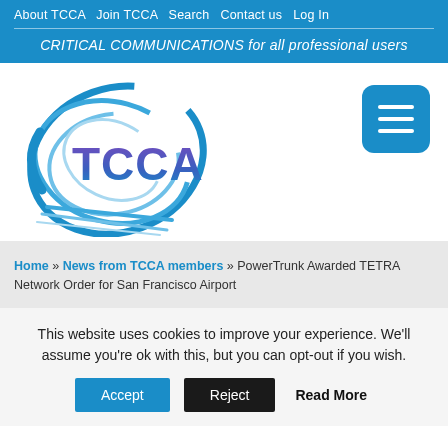About TCCA  Join TCCA  Search  Contact us  Log In
CRITICAL COMMUNICATIONS for all professional users
[Figure (logo): TCCA logo with blue swirl graphic and purple/blue TCCA text]
[Figure (other): Hamburger menu icon button (blue rounded square with three white horizontal lines)]
Home » News from TCCA members » PowerTrunk Awarded TETRA Network Order for San Francisco Airport
This website uses cookies to improve your experience. We'll assume you're ok with this, but you can opt-out if you wish.
Accept  Reject  Read More